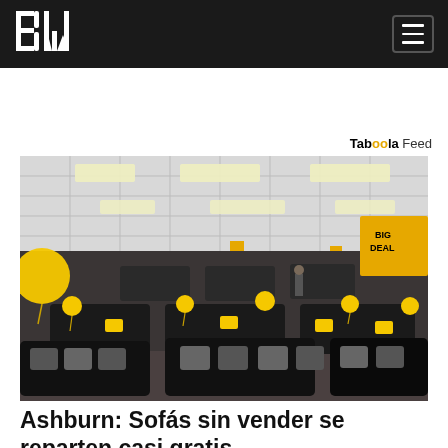BW
Taboola Feed
[Figure (photo): Interior of a furniture showroom with rows of dark leather sofas and sectionals on display, yellow balloons attached to couches as sale markers, yellow price tags visible, yellow pillars in the background, large retail ceiling with recessed lighting, yellow promotional banners hanging from ceiling in background.]
Ashburn: Sofás sin vender se reparten casi gratis
Sofá | Sponsored